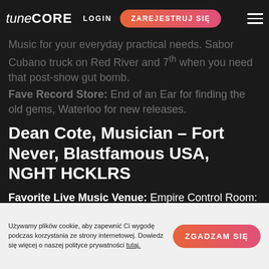tunecore LOGIN ZAREJESTRUJ SIĘ
Music for your everyday practical needs. Sabor Cubano truck on Red River and 7th when you need that post-show gut bomb.
Fave Record Store: End of an Ear for finding the old gems, Waterloo for new releases.
Dean Cote, Musician – Fort Never, Blastfamous USA, NGHT HCKLRS
Favorite Live Music Venue: Empire Control Room: The inside has a great small club atmosphere and the outside is perfect for big shows.  Craig Lawrence always has the sound dialed in perfectly.
Yummiest Tacos: I would have to say the breakfast tacos at Los Comales on east 7th, they are always
Używamy plików cookie, aby zapewnić Ci wygodę podczas korzystania ze strony internetowej. Dowiedz się więcej o naszej polityce prywatności tutaj. ZGADZAM SIĘ